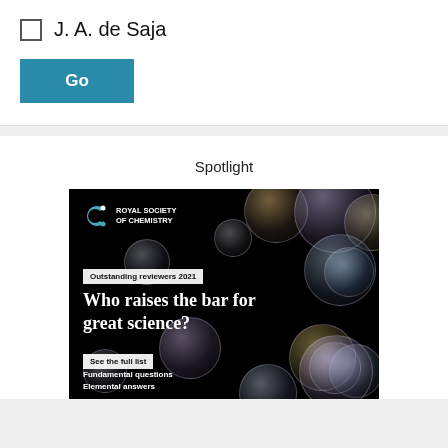J. A. de Saja
Go
Spotlight
[Figure (illustration): Royal Society of Chemistry advertisement with dark background showing colorful soap bubbles. Text reads: 'Outstanding reviewers 2021', 'Who raises the bar for great science?', 'See the full list', 'Fundamental questions', 'Elemental answers'. RSC logo in top left.]